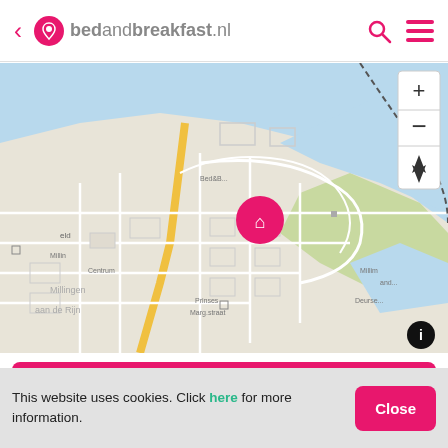< bedandbreakfast.nl
[Figure (map): OpenStreetMap showing Millingen aan de Rijn, Netherlands, with a pink home marker indicating a bed and breakfast location near the Rhine river. Map includes zoom controls (+, -, navigation) and an info button.]
SELECT DATES FOR PRICES
This website uses cookies. Click here for more information.